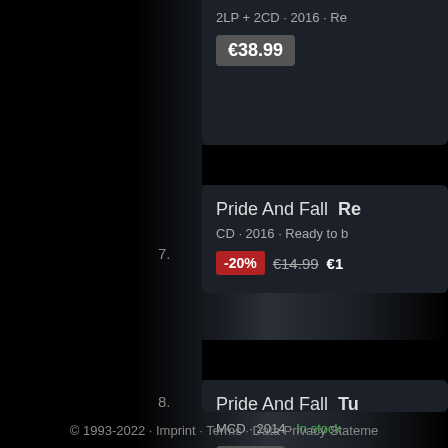2LP + 2CD · 2016 · Re...
€38.99
7.
Pride And Fall · Re...
CD · 2016 · Ready to b...
-20%  €14.99  €1...
8.
Pride And Fall · Tu...
MCD · 2014 · In stock
€9.99
© 1993-2022 · Imprint · Terms · Data Privacy Statement